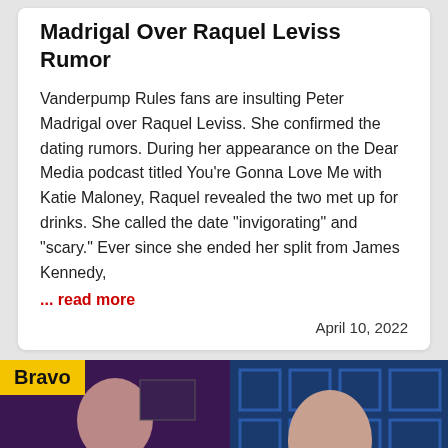Madrigal Over Raquel Leviss Rumor
Vanderpump Rules fans are insulting Peter Madrigal over Raquel Leviss. She confirmed the dating rumors. During her appearance on the Dear Media podcast titled You’re Gonna Love Me with Katie Maloney, Raquel revealed the two met up for drinks. She called the date “invigorating” and “scary.” Ever since she ended her split from James Kennedy,
... read more
April 10, 2022
[Figure (photo): Photo of two people on a TV set with a Bravo network watermark. A man on the left and a woman on the right are visible, appearing to be on a talk show or reality TV set with a blue geometric backdrop.]